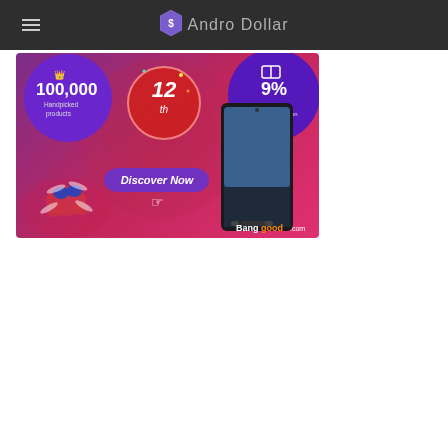Andro Dollar
[Figure (infographic): Banggood 12th anniversary promotional banner. Purple/pink gradient background with two circular bubbles on left and right: left bubble shows crown icon and '100,000 Handpicked products', center shows red circular badge with '12th' text, right bubble shows gift icon and '9% Extra 9% Site-wide Coupon'. A 'Discover Now' button with cursor icon in the middle. Left side shows a drone toy, right side shows a Xiaomi smartphone. Banggood.com logo at bottom right.]